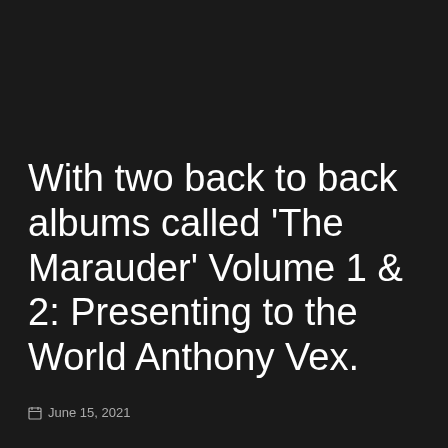With two back to back albums called ‘The Marauder’ Volume 1 & 2: Presenting to the World Anthony Vex.
June 15, 2021